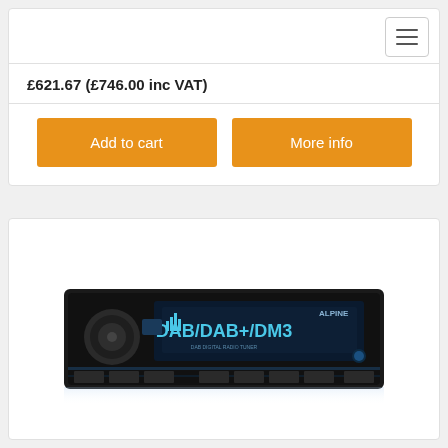£621.67 (£746.00 inc VAT)
Add to cart
More info
[Figure (photo): Alpine car stereo head unit showing DAB/DAB+/DM3 display with blue illumination and black panel]